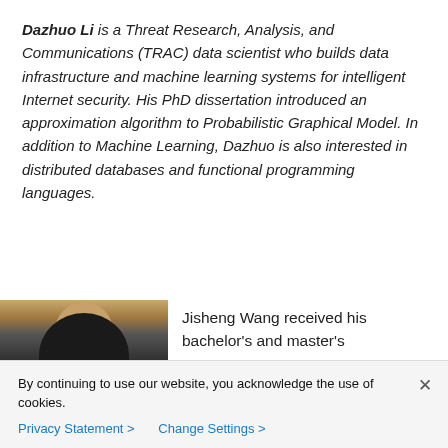Dazhuo Li is a Threat Research, Analysis, and Communications (TRAC) data scientist who builds data infrastructure and machine learning systems for intelligent Internet security. His PhD dissertation introduced an approximation algorithm to Probabilistic Graphical Model. In addition to Machine Learning, Dazhuo is also interested in distributed databases and functional programming languages.
[Figure (photo): Partial photo of a person with dark hair, shown from approximately shoulders up, with a yellowish/beige background at top.]
Jisheng Wang received his bachelor's and master's
By continuing to use our website, you acknowledge the use of cookies.
Privacy Statement > Change Settings >